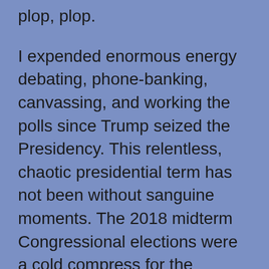plop, plop.
I expended enormous energy debating, phone-banking, canvassing, and working the polls since Trump seized the Presidency. This relentless, chaotic presidential term has not been without sanguine moments. The 2018 midterm Congressional elections were a cold compress for the bruises of Trumpian outrageousness.
New energy rose in me as we celebrated the arrival of passionate